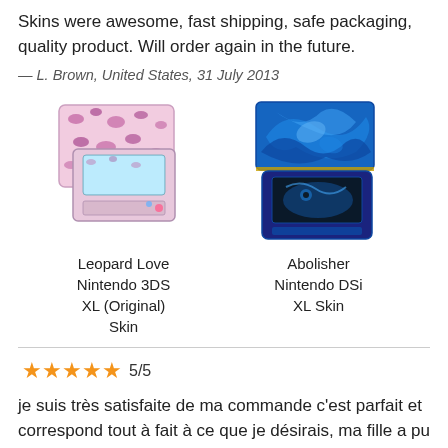Skins were awesome, fast shipping, safe packaging, quality product. Will order again in the future.
— L. Brown, United States, 31 July 2013
[Figure (photo): Two Nintendo DS skin products displayed: left is Leopard Love Nintendo 3DS XL (Original) Skin with pink leopard print pattern; right is Abolisher Nintendo DSi XL Skin with blue dragon/abstract pattern.]
Leopard Love Nintendo 3DS XL (Original) Skin
Abolisher Nintendo DSi XL Skin
5/5
je suis très satisfaite de ma commande c'est parfait et correspond tout à fait à ce que je désirais, ma fille a pu décorer et personnaliser sa Nitendo 3DS , elle est très